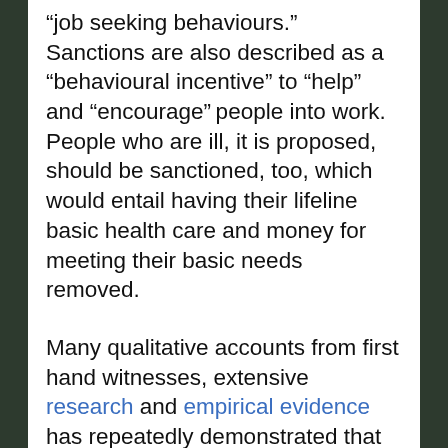“job seeking behaviours.” Sanctions are also described as a “behavioural incentive” to “help” and “encourage” people into work. People who are ill, it is proposed, should be sanctioned, too, which would entail having their lifeline basic health care and money for meeting their basic needs removed.
Many qualitative accounts from first hand witnesses, extensive research and empirical evidence has repeatedly demonstrated that welfare sanctions make it less likely that people will find employment: taking essential support from people with very limited resources profoundly demotivates,